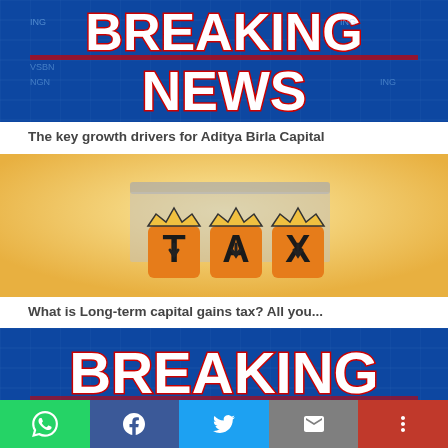[Figure (photo): Breaking News graphic with bold 3D red and white letters on a blue background]
The key growth drivers for Aditya Birla Capital
[Figure (photo): Orange and yellow toy-like letter blocks spelling TAX on a light yellow background with a metal tray]
What is Long-term capital gains tax? All you...
[Figure (photo): Breaking News graphic with bold 3D red and white letters on a blue background (partial, cropped)]
WhatsApp share, Facebook share, Twitter share, Email share, More share